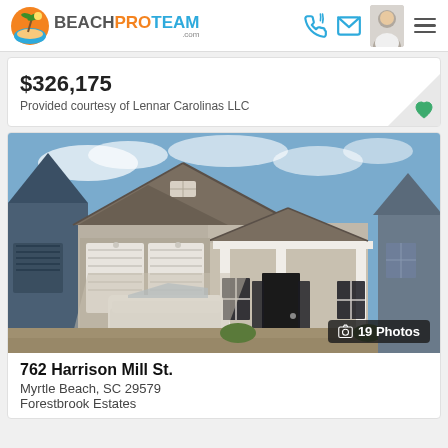BeachProTeam.com
$326,175
Provided courtesy of Lennar Carolinas LLC
[Figure (photo): Exterior photo of a single-family home at 762 Harrison Mill St., Myrtle Beach, SC 29579. Gray craftsman-style house with two-car garage, white car in driveway, blue sky. Badge reads '19 Photos'.]
762 Harrison Mill St.
Myrtle Beach, SC 29579
Forestbrook Estates